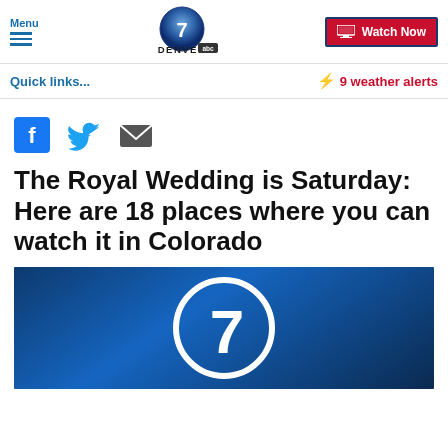Menu | Denver 7 ABC | Watch Now
Quick links...
9 weather alerts
[Figure (screenshot): Social sharing icons: Facebook, Twitter, Email]
The Royal Wedding is Saturday: Here are 18 places where you can watch it in Colorado
[Figure (photo): Denver 7 ABC logo on dark blue background]